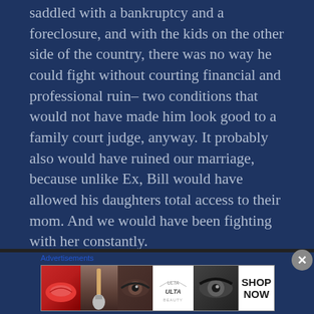saddled with a bankruptcy and a foreclosure, and with the kids on the other side of the country, there was no way he could fight without courting financial and professional ruin– two conditions that would not have made him look good to a family court judge, anyway. It probably also would have ruined our marriage, because unlike Ex, Bill would have allowed his daughters total access to their mom. And we would have been fighting with her constantly.
[Figure (infographic): Advertisement banner featuring beauty/makeup imagery including lips, brush, eye makeup, Ulta Beauty logo, and a Shop Now call to action.]